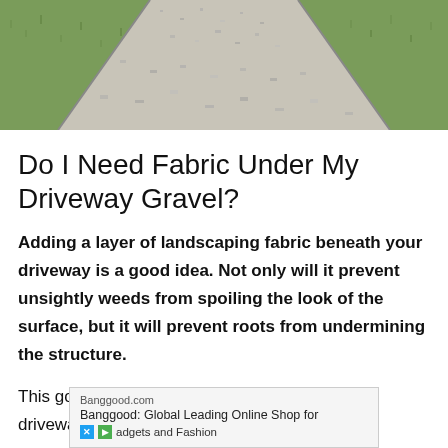[Figure (photo): Aerial view of a gravel driveway with green grass on both sides, light gray crushed stone path going into the distance]
Do I Need Fabric Under My Driveway Gravel?
Adding a layer of landscaping fabric beneath your driveway is a good idea. Not only will it prevent unsightly weeds from spoiling the look of the surface, but it will prevent roots from undermining the structure.
This goes right at the bottom of your newly dug driveway...